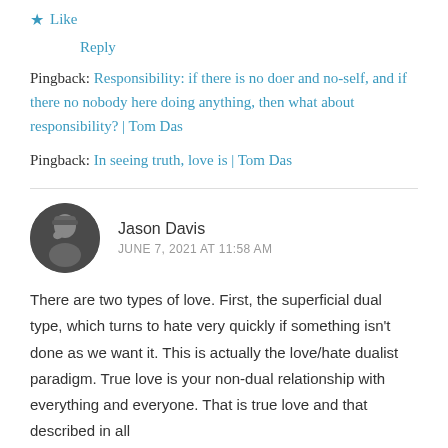★ Like
Reply
Pingback: Responsibility: if there is no doer and no-self, and if there no nobody here doing anything, then what about responsibility? | Tom Das
Pingback: In seeing truth, love is | Tom Das
Jason Davis
JUNE 7, 2021 AT 11:58 AM
There are two types of love. First, the superficial dual type, which turns to hate very quickly if something isn't done as we want it. This is actually the love/hate dualist paradigm. True love is your non-dual relationship with everything and everyone. That is true love and that described in all